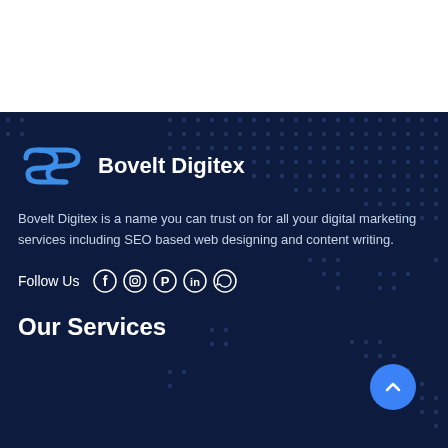[Figure (logo): Bovelt Digitex logo with stylized wind/flow icon in blue and company name in white bold text]
Bovelt Digitex is a name you can trust on for all your digital marketing services including SEO based web designing and content writing.
Follow Us
[Figure (infographic): Social media icons row: Facebook, Instagram, Pinterest, LinkedIn, WhatsApp]
Our Services